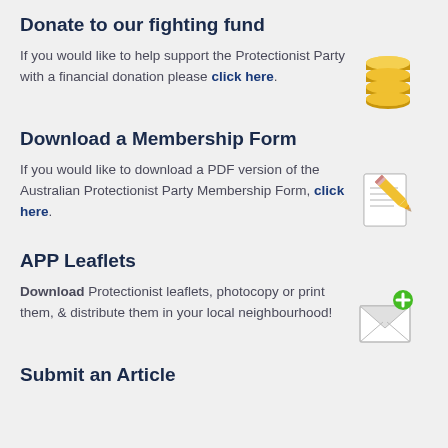Donate to our fighting fund
If you would like to help support the Protectionist Party with a financial donation please click here.
Download a Membership Form
If you would like to download a PDF version of the Australian Protectionist Party Membership Form, click here.
APP Leaflets
Download Protectionist leaflets, photocopy or print them, & distribute them in your local neighbourhood!
Submit an Article